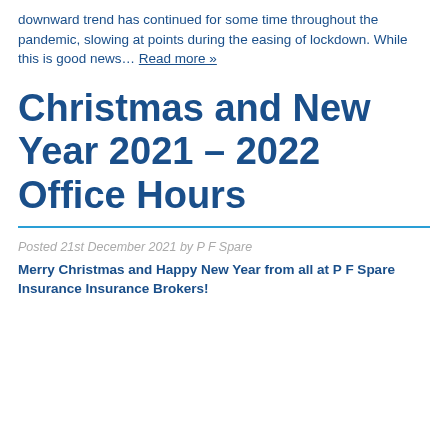downward trend has continued for some time throughout the pandemic, slowing at points during the easing of lockdown. While this is good news… Read more »
Christmas and New Year 2021 – 2022 Office Hours
Posted 21st December 2021 by P F Spare
Merry Christmas and Happy New Year from all at P F Spare Insurance Insurance Brokers!